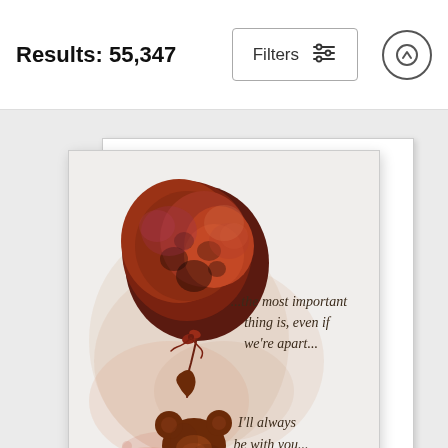Results: 55,347
[Figure (illustration): A watercolor-style greeting card showing a bear (Winnie the Pooh style) holding a large dark red/maroon balloon, with handwritten-style text reading '...the most important thing is, even if we're apart...' and partially visible '...I'll always be with you...']